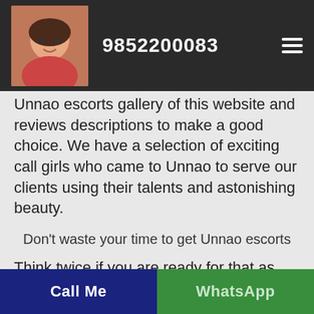9852200083
Unnao escorts gallery of this website and reviews descriptions to make a good choice. We have a selection of exciting call girls who came to Unnao to serve our clients using their talents and astonishing beauty.
Don't waste your time to get Unnao escorts
Think twice if you are ready for that as what we offer you is 100% pure ecstasy, only for the most classy men!!! Go and experience what our Unnao escorts had prepared for you: each of Unnao escorts something amazing and unique! It is
Call Me | WhatsApp